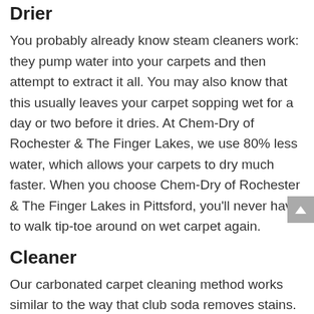Drier
You probably already know steam cleaners work: they pump water into your carpets and then attempt to extract it all. You may also know that this usually leaves your carpet sopping wet for a day or two before it dries. At Chem-Dry of Rochester & The Finger Lakes, we use 80% less water, which allows your carpets to dry much faster. When you choose Chem-Dry of Rochester & The Finger Lakes in Pittsford, you'll never have to walk tip-toe around on wet carpet again.
Cleaner
Our carbonated carpet cleaning method works similar to the way that club soda removes stains. The carbonated bubbles are able to reach deep into the carpet and explode dirt and grime that has